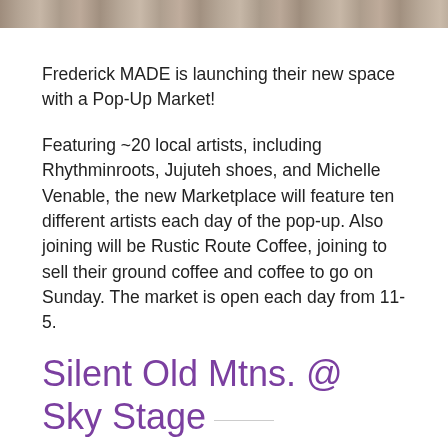[Figure (photo): Partial image strip at top of page, appears to be a cropped photo]
Frederick MADE is launching their new space with a Pop-Up Market!
Featuring ~20 local artists, including Rhythminroots, Jujuteh shoes, and Michelle Venable, the new Marketplace will feature ten different artists each day of the pop-up. Also joining will be Rustic Route Coffee, joining to sell their ground coffee and coffee to go on Sunday. The market is open each day from 11-5.
Silent Old Mtns. @ Sky Stage
Saturday, June 11, 7pm-10pm, $10
Sky Stage, 59 S Carroll St